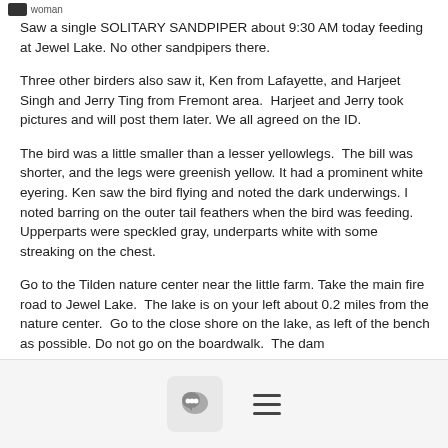woman
Saw a single SOLITARY SANDPIPER about 9:30 AM today feeding at Jewel Lake. No other sandpipers there.
Three other birders also saw it, Ken from Lafayette, and Harjeet Singh and Jerry Ting from Fremont area.  Harjeet and Jerry took pictures and will post them later. We all agreed on the ID.
The bird was a little smaller than a lesser yellowlegs.  The bill was shorter, and the legs were greenish yellow. It had a prominent white eyering. Ken saw the bird flying and noted the dark underwings. I noted barring on the outer tail feathers when the bird was feeding.  Upperparts were speckled gray, underparts white with some streaking on the chest.
Go to the Tilden nature center near the little farm. Take the main fire road to Jewel Lake.  The lake is on your left about 0.2 miles from the nature center.  Go to the close shore on the lake, as left of the bench as possible. Do not go on the boardwalk.  The dam
[chat icon] [menu icon]